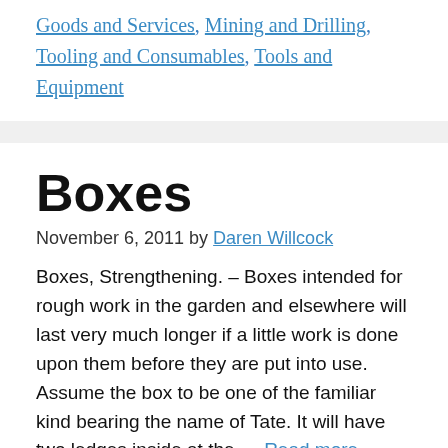Goods and Services, Mining and Drilling, Tooling and Consumables, Tools and Equipment
Boxes
November 6, 2011 by Daren Willcock
Boxes, Strengthening. – Boxes intended for rough work in the garden and elsewhere will last very much longer if a little work is done upon them before they are put into use. Assume the box to be one of the familiar kind bearing the name of Tate. It will have two ledges inside at the… Read more